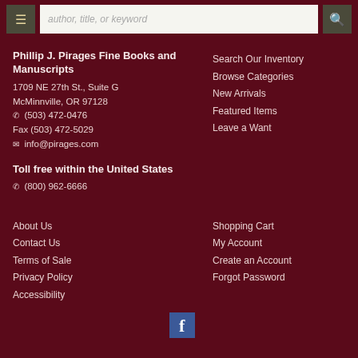author, title, or keyword [search bar with menu and search buttons]
Phillip J. Pirages Fine Books and Manuscripts
1709 NE 27th St., Suite G
McMinnville, OR 97128
☎ (503) 472-0476
Fax (503) 472-5029
✉ info@pirages.com
Search Our Inventory
Browse Categories
New Arrivals
Featured Items
Leave a Want
Toll free within the United States
☎ (800) 962-6666
About Us
Contact Us
Terms of Sale
Privacy Policy
Accessibility
Shopping Cart
My Account
Create an Account
Forgot Password
[Figure (logo): Facebook logo icon button]